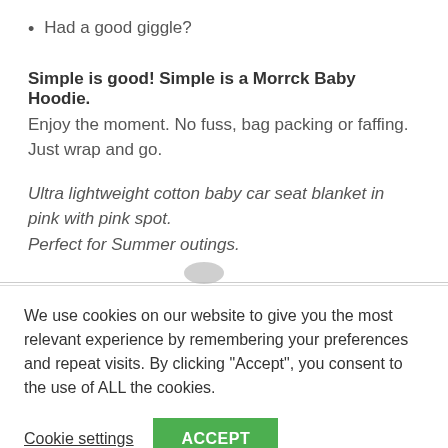Had a good giggle?
Simple is good! Simple is a Morrck Baby Hoodie.
Enjoy the moment. No fuss, bag packing or faffing.  Just wrap and go.
Ultra lightweight cotton baby car seat blanket in pink with pink spot.
Perfect for Summer outings.
We use cookies on our website to give you the most relevant experience by remembering your preferences and repeat visits. By clicking “Accept”, you consent to the use of ALL the cookies.
Cookie settings  ACCEPT